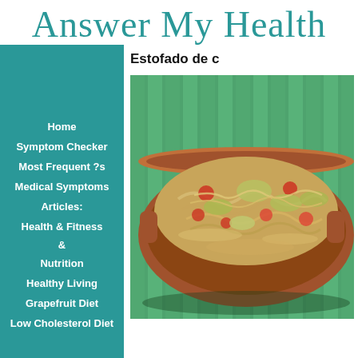Answer My Health
Estofado de c
Home
Symptom Checker
Most Frequent ?s
Medical Symptoms
Articles:
Health & Fitness
&
Nutrition
Healthy Living
Grapefruit Diet
Low Cholesterol Diet
Mediterranean Diet
[Figure (photo): A clay/terracotta dish filled with Estofado de c (stew), showing shredded meat with tomatoes and vegetables, on a green bamboo mat background]